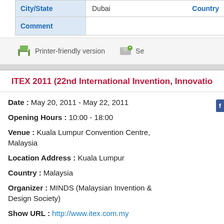| City/State |  | Country |
| --- | --- | --- |
| Dubai |  |  |
| Comment |  |  |
[Figure (screenshot): Printer-friendly version icon and link, plus send icon]
ITEX 2011 (22nd International Invention, Innovatio...
Date : May 20, 2011 - May 22, 2011
Opening Hours : 10:00 - 18:00
Venue : Kuala Lumpur Convention Centre, Malaysia
Location Address : Kuala Lumpur
Country : Malaysia
Organizer : MINDS (Malaysian Invention & Design Society)
Show URL : http://www.itex.com.my